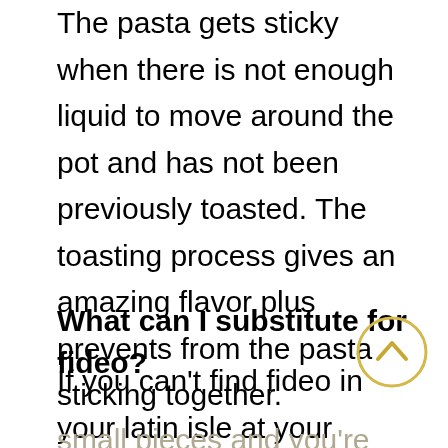The pasta gets sticky when there is not enough liquid to move around the pot and has not been previously toasted. The toasting process gives an amazing flavor plus prevents from the pasta sticking together.
What can I substitute for fideo?
If you can't find fideo in your latin isle at your grocery store, you may use short vermicelli or even angel pasta. Just cut it in
small pieces and you're set!